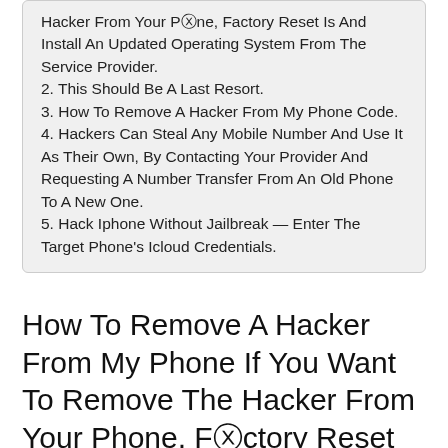Hacker From Your Phone, Factory Reset Is And Install An Updated Operating System From The Service Provider.
2. This Should Be A Last Resort.
3. How To Remove A Hacker From My Phone Code.
4. Hackers Can Steal Any Mobile Number And Use It As Their Own, By Contacting Your Provider And Requesting A Number Transfer From An Old Phone To A New One.
5. Hack Iphone Without Jailbreak — Enter The Target Phone's Icloud Credentials.
How To Remove A Hacker From My Phone If You Want To Remove The Hacker From Your Phone, Factory Reset Is